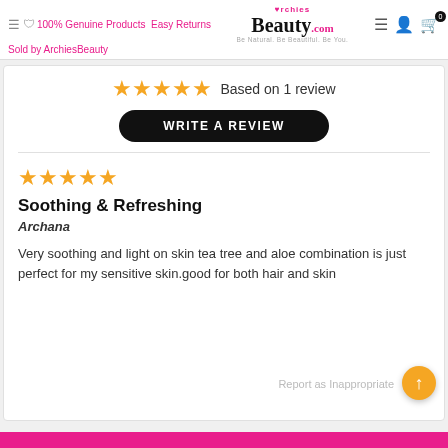Archies Beauty.com — 100% Genuine Products | Easy Returns | Sold by ArchiesBeauty
Based on 1 review
WRITE A REVIEW
Soothing & Refreshing
Archana
Very soothing and light on skin tea tree and aloe combination is just perfect for my sensitive skin.good for both hair and skin
Report as Inappropriate